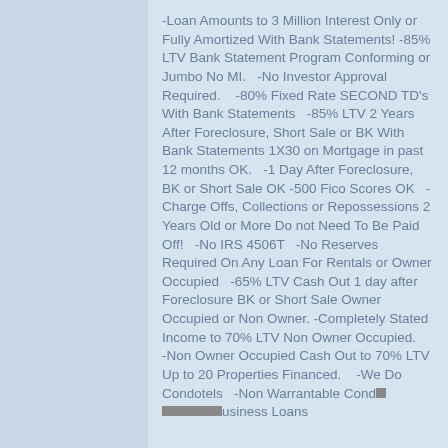-Loan Amounts to 3 Million Interest Only or Fully Amortized With Bank Statements! -85% LTV Bank Statement Program Conforming or Jumbo No MI.   -No Investor Approval Required.    -80% Fixed Rate SECOND TD's With Bank Statements   -85% LTV 2 Years After Foreclosure, Short Sale or BK With Bank Statements 1X30 on Mortgage in past 12 months OK.   -1 Day After Foreclosure, BK or Short Sale OK -500 Fico Scores OK   -Charge Offs, Collections or Repossessions 2 Years Old or More Do not Need To Be Paid Off!   -No IRS 4506T   -No Reserves Required On Any Loan For Rentals or Owner Occupied   -65% LTV Cash Out 1 day after Foreclosure BK or Short Sale Owner Occupied or Non Owner.   -Completely Stated Income to 70% LTV Non Owner Occupied.    -Non Owner Occupied Cash Out to 70% LTV Up to 20 Properties Financed.    -We Do Condotels   -Non Warrantable Condos   Business Loans